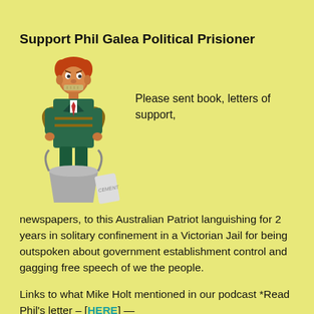Support Phil Galea Political Prisioner
[Figure (illustration): Cartoon of a man in a suit tied up with rope, standing in a bucket of cement, with tape over his mouth and a bag of cement beside him.]
Please sent book, letters of support, newspapers, to this Australian Patriot languishing for 2 years in solitary confinement in a Victorian Jail for being outspoken about government establishment control and gagging free speech of we the people.
Links to what Mike Holt mentioned in our podcast *Read Phil’s letter – [HERE] — *Islam Burning Christian Churches – [HERE]. *ALP, The Traitors Within – [HERE]